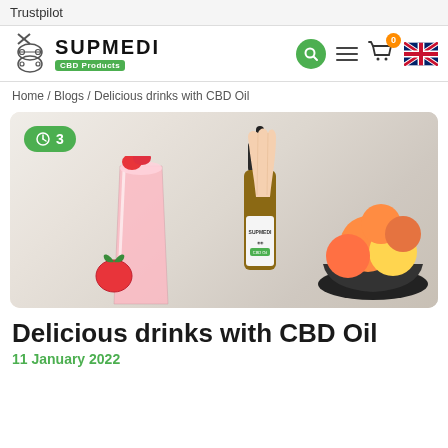Trustpilot
[Figure (screenshot): Supmedi CBD Products logo with navigation bar including search, hamburger menu, cart with badge 0, and UK flag icon]
Home / Blogs / Delicious drinks with CBD Oil
[Figure (photo): Hero image showing a strawberry smoothie drink, a hand dropping CBD oil from a Supmedi dropper bottle, and a bowl of fresh fruits including oranges and peaches, with a green clock badge showing 3 in the top left corner]
Delicious drinks with CBD Oil
11 January 2022